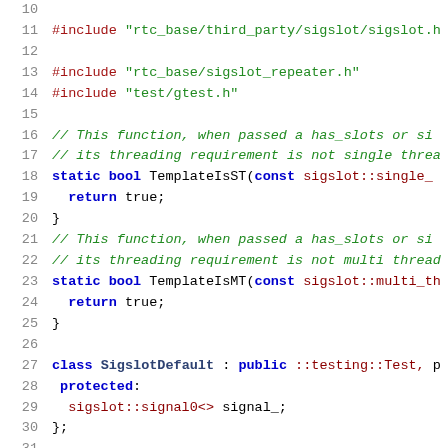[Figure (screenshot): Source code listing (C++ file) showing lines 10-31 with syntax highlighting. Lines include #include directives, static bool template functions (TemplateIsST, TemplateIsMT), and class SigslotDefault declaration.]